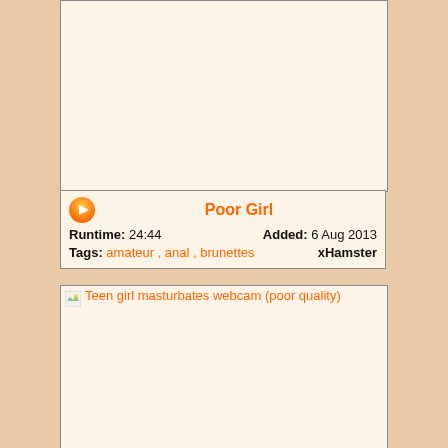[Figure (screenshot): Video thumbnail placeholder area - blank cream colored box]
Poor Girl
Runtime: 24:44    Added: 6 Aug 2013
Tags: amateur , anal , brunettes    xHamster
[Figure (screenshot): Second video thumbnail - Teen girl masturbates webcam (poor quality) - broken image icon with caption]